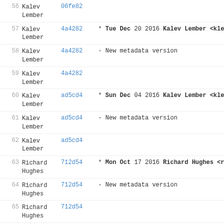56 Kalev Lember 06fe82
57 Kalev Lember 4a4282 * Tue Dec 20 2016 Kalev Lember <klemb
58 Kalev Lember 4a4282 - New metadata version
59 Kalev Lember 4a4282
60 Kalev Lember ad5cd4 * Sun Dec 04 2016 Kalev Lember <klemb
61 Kalev Lember ad5cd4 - New metadata version
62 Kalev Lember ad5cd4
63 Richard Hughes 712d54 * Mon Oct 17 2016 Richard Hughes <ric
64 Richard Hughes 712d54 - New metadata version
65 Richard Hughes 712d54
66 Richard Hughes 82ca01 * Fri Oct 14 2016 Richard Hughes <ric